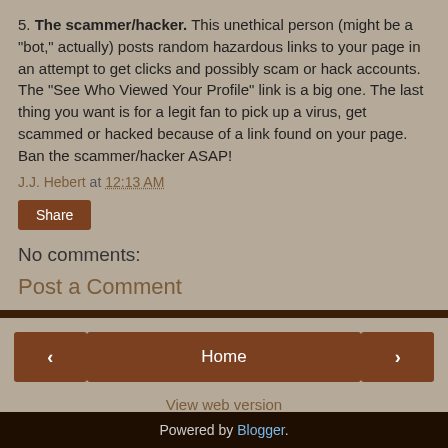5. The scammer/hacker. This unethical person (might be a "bot," actually) posts random hazardous links to your page in an attempt to get clicks and possibly scam or hack accounts. The "See Who Viewed Your Profile" link is a big one. The last thing you want is for a legit fan to pick up a virus, get scammed or hacked because of a link found on your page. Ban the scammer/hacker ASAP!
J.J. Hebert at 12:13 AM
Share
No comments:
Post a Comment
Home
View web version
Powered by Blogger.